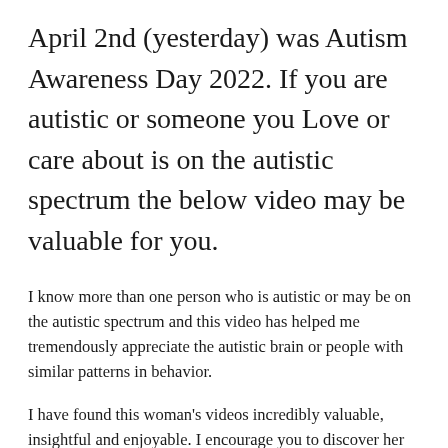April 2nd (yesterday) was Autism Awareness Day 2022. If you are autistic or someone you Love or care about is on the autistic spectrum the below video may be valuable for you.
I know more than one person who is autistic or may be on the autistic spectrum and this video has helped me tremendously appreciate the autistic brain or people with similar patterns in behavior.
I have found this woman's videos incredibly valuable, insightful and enjoyable. I encourage you to discover her other videos and learn more.